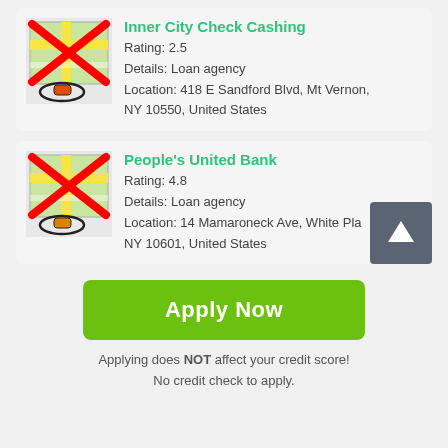[Figure (other): Map icon with red X overlay and location pin for Inner City Check Cashing]
Inner City Check Cashing
Rating: 2.5
Details: Loan agency
Location: 418 E Sandford Blvd, Mt Vernon, NY 10550, United States
[Figure (other): Map icon with red X overlay and location pin for People's United Bank]
People's United Bank
Rating: 4.8
Details: Loan agency
Location: 14 Mamaroneck Ave, White Plains, NY 10601, United States
Apply Now
Applying does NOT affect your credit score!
No credit check to apply.